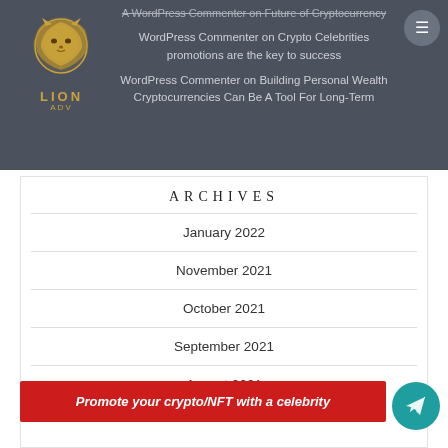[Figure (logo): Lion ADV logo with golden lion head illustration and text LION ADV below]
A WordPress Commenter on Future of Cryptocurrency
WordPress Commenter on Crypto Celebrities promotions are the key to success
WordPress Commenter on Building Personal Wealth Cryptocurrencies Can Be A Tool For Long-Term
ARCHIVES
January 2022
November 2021
October 2021
September 2021
August 2021
Promote your crypto/NFT with a celebrity